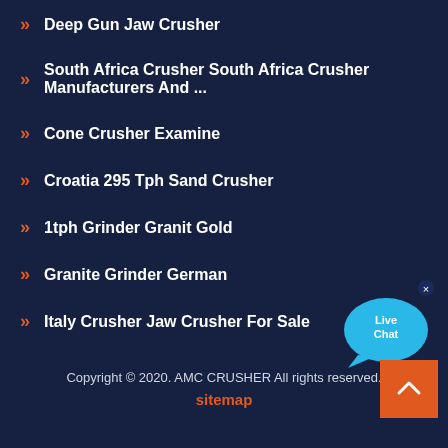Deep Gun Jaw Crusher
South Africa Crusher South Africa Crusher Manufacturers And ...
Cone Crusher Examine
Croatia 295 Tph Sand Crusher
1tph Grinder Granit Gold
Granite Grinder German
Italy Crusher Jaw Crusher For Sale
[Figure (illustration): Live Chat bubble widget with blue speech bubble and white text 'Live Chat', with a small x close button]
Copyright © 2020. AMC CRUSHER All rights reserved.
sitemap